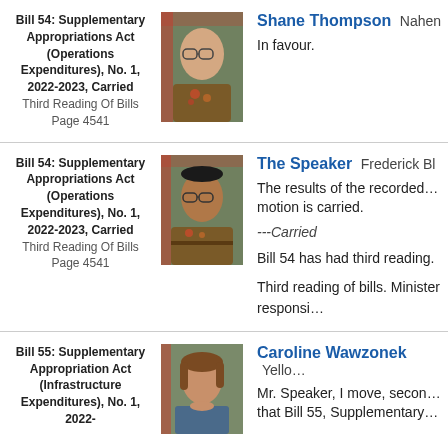Bill 54: Supplementary Appropriations Act (Operations Expenditures), No. 1, 2022-2023, Carried
Third Reading Of Bills
Page 4541
[Figure (photo): Headshot of Shane Thompson wearing a brown decorated jacket with a flag in background]
Shane Thompson Nahen...
In favour.
Bill 54: Supplementary Appropriations Act (Operations Expenditures), No. 1, 2022-2023, Carried
Third Reading Of Bills
Page 4541
[Figure (photo): Headshot of The Speaker Frederick Bl... wearing a brown decorated jacket with a flag in background]
The Speaker Frederick Bl...
The results of the recorded... motion is carried.
---Carried
Bill 54 has had third reading.
Third reading of bills. Minister responsi...
Bill 55: Supplementary Appropriation Act (Infrastructure Expenditures), No. 1, 2022-
[Figure (photo): Headshot of Caroline Wawzonek with brown hair]
Caroline Wawzonek Yello...
Mr. Speaker, I move, secon... that Bill 55, Supplementary...